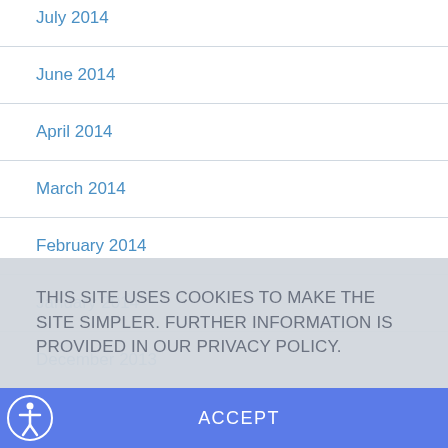July 2014
June 2014
April 2014
March 2014
February 2014
January 2014
December 2013
November 2013
THIS SITE USES COOKIES TO MAKE THE SITE SIMPLER. FURTHER INFORMATION IS PROVIDED IN OUR PRIVACY POLICY.
ACCEPT